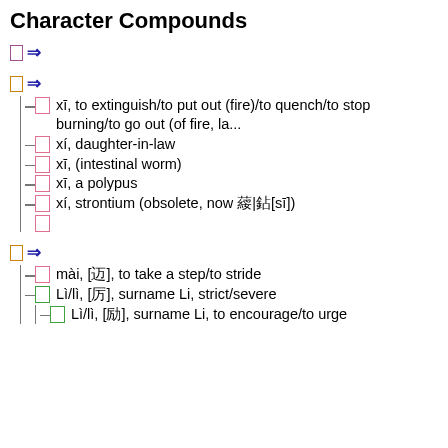Character Compounds
⇒ (arrow with purple box)
⇒ (arrow with orange box)
xī, to extinguish/to put out (fire)/to quench/to stop burning/to go out (of fire, la...
xí, daughter-in-law
xī, (intestinal worm)
xī, a polypus
xí, strontium (obsolete, now 䥑|鐦[sī])
⇒ (arrow with orange box)
mài, [迈], to take a step/to stride
Lì/lì, [厉], surname Li, strict/severe
Lì/lì, [励], surname Li, to encourage/to urge